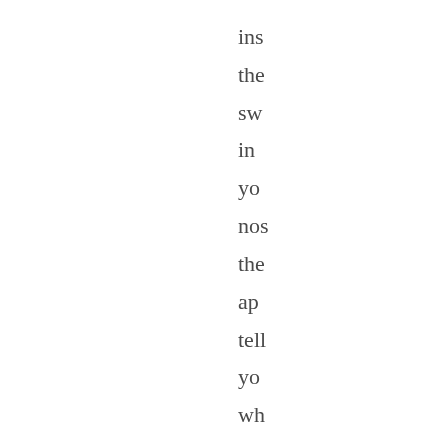ins
the
sw
in
you
nos
the
app
tell
you
wh
to
do
and
pro
a
cou
tim